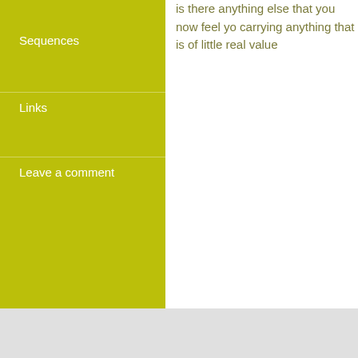is there anything else that you now feel yo carrying anything that is of little real value
Sequences
Links
Leave a comment